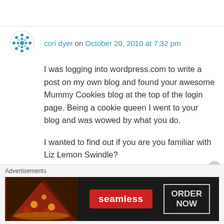[Figure (logo): Avatar icon — teal/blue snowflake-like decorative pattern on white background]
cori dyer on October 20, 2010 at 7:32 pm
I was logging into wordpress.com to write a post on my own blog and found your awesome Mummy Cookies blog at the top of the login page. Being a cookie queen I went to your blog and was wowed by what you do.
I wanted to find out if you are you familiar with Liz Lemon Swindle? (http://www.lizlemonswindle.com/)
Liz is an amazing artist and her focus is
Advertisements
[Figure (photo): Seamless food delivery advertisement banner showing pizza image on left, Seamless red logo in center, and ORDER NOW button on right, dark background]